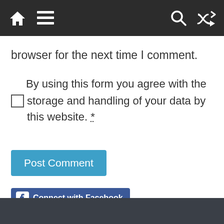Navigation bar with home, menu, search, and shuffle icons
browser for the next time I comment.
By using this form you agree with the storage and handling of your data by this website. *
Post Comment
[Figure (logo): Connect with Facebook button with Facebook logo]
This site uses Akismet to reduce spam. Learn how your comment data is processed.